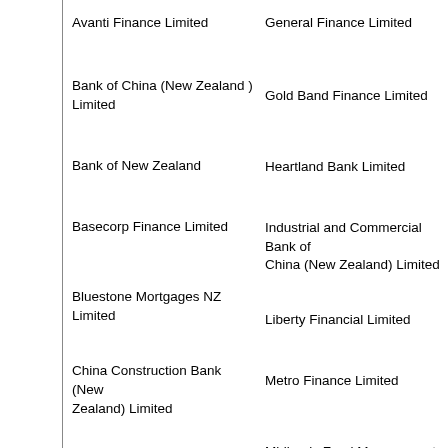Avanti Finance Limited
General Finance Limited
Bank of China (New Zealand ) Limited
Gold Band Finance Limited
Bank of New Zealand
Heartland Bank Limited
Basecorp Finance Limited
Industrial and Commercial Bank of China (New Zealand) Limited
Bluestone Mortgages NZ Limited
Liberty Financial Limited
China Construction Bank (New Zealand) Limited
Metro Finance Limited
Credit Union Baywide
Midlands Fund Management Limited